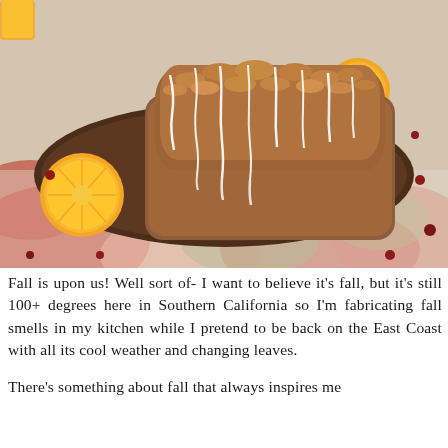[Figure (photo): A loaf of glazed cranberry orange bread on a dark oval wooden serving board, garnished with two orange slices (one on each end). The board is placed on a tablecloth with autumn leaf print in red, pink, and green. Several dried cranberries are scattered around. A glass of orange juice is partially visible in the top left corner.]
Fall is upon us! Well sort of- I want to believe it's fall, but it's still 100+ degrees here in Southern California so I'm fabricating fall smells in my kitchen while I pretend to be back on the East Coast with all its cool weather and changing leaves.
There's something about fall that always inspires me